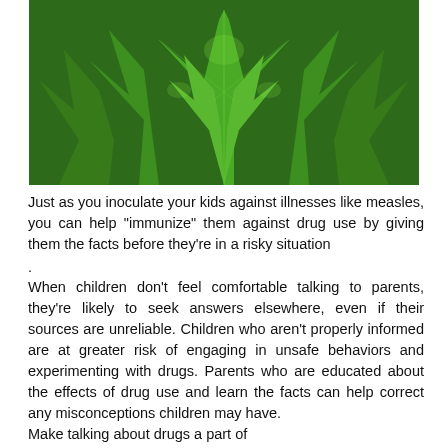[Figure (photo): Close-up photograph of green cannabis/marijuana leaves from above, showing serrated leaf edges in vivid green tones]
Just as you inoculate your kids against illnesses like measles, you can help "immunize" them against drug use by giving them the facts before they're in a risky situation
.
When children don't feel comfortable talking to parents, they're likely to seek answers elsewhere, even if their sources are unreliable. Children who aren't properly informed are at greater risk of engaging in unsafe behaviors and experimenting with drugs. Parents who are educated about the effects of drug use and learn the facts can help correct any misconceptions children may have.
Make talking about drugs a part of